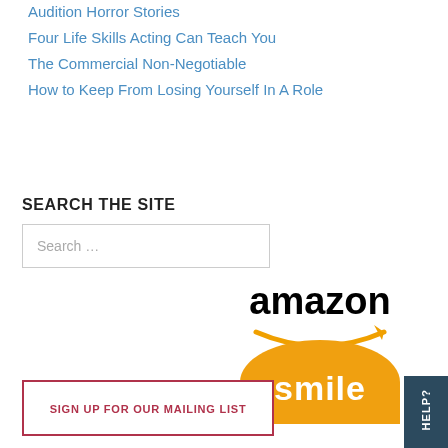Audition Horror Stories
Four Life Skills Acting Can Teach You
The Commercial Non-Negotiable
How to Keep From Losing Yourself In A Role
SEARCH THE SITE
Search ...
[Figure (logo): Amazon Smile logo: the word 'amazon' in black text with an orange arrow smile beneath, over an orange half-circle with 'smile' in white text]
SIGN UP FOR OUR MAILING LIST